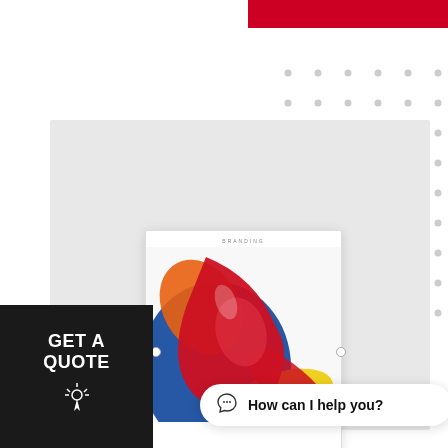[Figure (illustration): Red horizontal bar in the top-right corner of the page, part of a branding/design layout.]
[Figure (illustration): Grid of small gray dots in the top-right area of the page, decorative background element.]
[Figure (illustration): Light gray rectangular background panel in the center-left area.]
[Figure (screenshot): White branding card mockup showing the word BRANDING at the top and a colorful abstract paint brush photo (red, blue, yellow, orange colors) below it. Slider dots visible at the bottom sides of the card.]
GET A QUOTE
[Figure (illustration): Click/cursor icon below GET A QUOTE text on dark background.]
How can I help you?